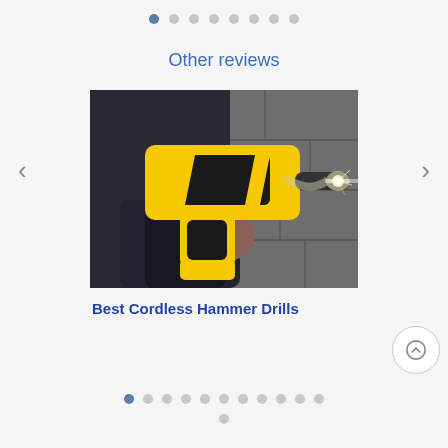Other reviews
[Figure (photo): Person holding a yellow and black cordless hammer drill, drilling into a concrete/stone wall with dust/sparks flying]
Best Cordless Hammer Drills